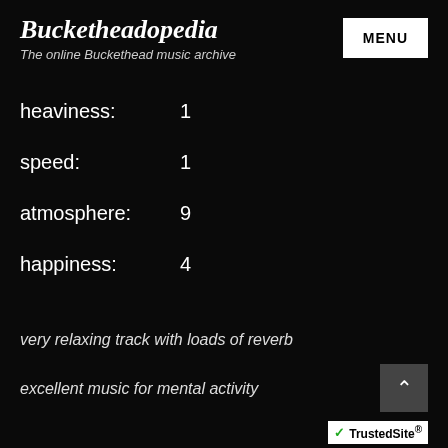Bucketheadopedia
The online Buckethead music archive
heaviness:    1
speed:    1
atmosphere:    9
happiness:    4
very relaxing track with loads of reverb
excellent music for mental activity